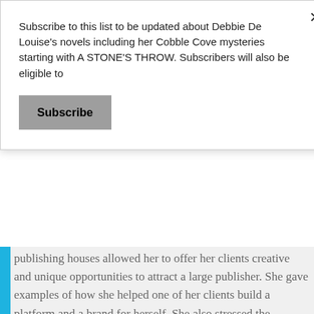Subscribe to this list to be updated about Debbie De Louise's novels including her Cobble Cove mysteries starting with A STONE'S THROW. Subscribers will also be eligible to
Subscribe
publishing houses allowed her to offer her clients creative and unique opportunities to attract a large publisher. She gave examples of how she helped one of her clients build a platform and a brand for herself. She also stressed the importance of social media especially Facebook and Linkedin. She discussed popular resources for writers to help them locate information about agents and publishers, and she also spoke about the importance of copyrighting one's work. She